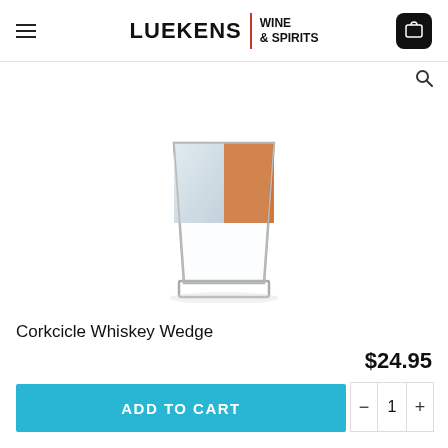LUEKENS | WINE & SPIRITS
[Figure (photo): A square whiskey glass containing a large triangular wedge of ice with amber whiskey filling the upper portion, on a white background.]
Corkcicle Whiskey Wedge
$24.95
ADD TO CART
- 1 +